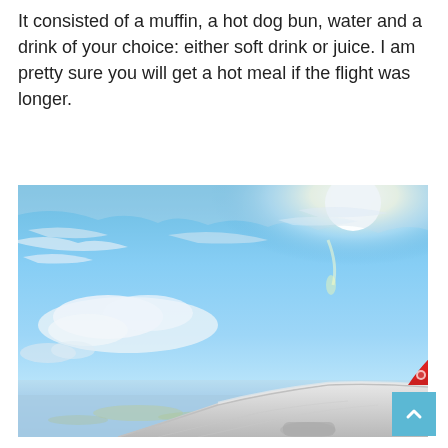It consisted of a muffin, a hot dog bun, water and a drink of your choice: either soft drink or juice. I am pretty sure you will get a hot meal if the flight was longer.
[Figure (photo): View from airplane window showing the aircraft wing with a red winglet logo, brilliant sunlight breaking through wispy clouds in a bright blue sky, with land visible far below through scattered clouds.]